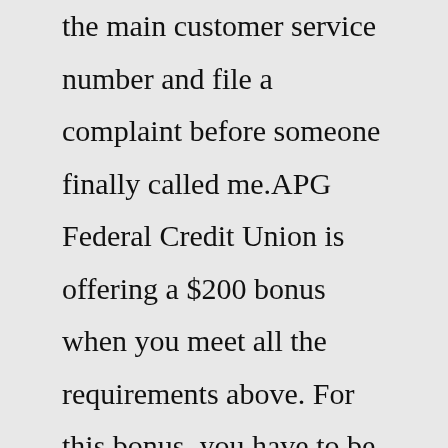the main customer service number and file a complaint before someone finally called me.APG Federal Credit Union is offering a $200 bonus when you meet all the requirements above. For this bonus, you have to be an educator or faculty for a school. Even if you don't qualify, you may know someone who does so let them know about this offer! ... Your email address will not be published. Required fields are marked * Comment * Name *APGFCU is